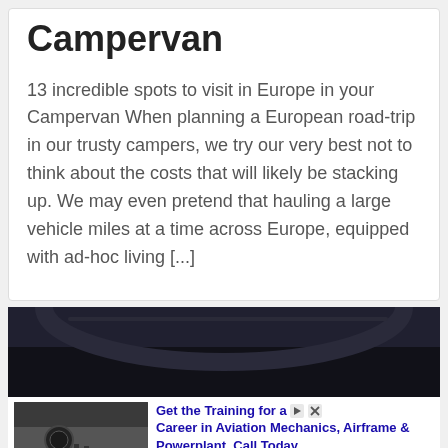Campervan
13 incredible spots to visit in Europe in your Campervan When planning a European road-trip in our trusty campers, we try our very best not to think about the costs that will likely be stacking up. We may even pretend that hauling a large vehicle miles at a time across Europe, equipped with ad-hoc living [...]
[Figure (photo): Dark photo showing airplane engines and crew on tarmac, used as background for an advertisement]
Get the Training for a Career in Aviation Mechanics, Airframe & Powerplant. Call Today.
Ad